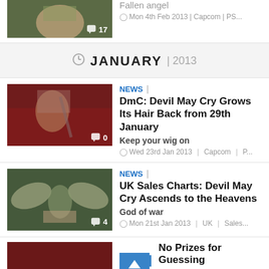[Figure (photo): Partial top article thumbnail showing a character's face, with comment bubble showing 17]
Fallen angel
Mon 4th Feb 2013 | Capcom | PS...
JANUARY | 2013
[Figure (photo): DmC Devil May Cry character with white hair holding a sword against a red background, comment count 0]
NEWS | DmC: Devil May Cry Grows Its Hair Back from 29th January
Keep your wig on
Wed 23rd Jan 2013 | Capcom | P...
[Figure (photo): UK Sales Charts article thumbnail showing characters with wings and a person carrying another, comment count 4]
NEWS | UK Sales Charts: Devil May Cry Ascends to the Heavens
God of war
Mon 21st Jan 2013 | UK | Sales...
[Figure (photo): Partial bottom article thumbnail, red-toned image]
NEWS | No Prizes for Guessing